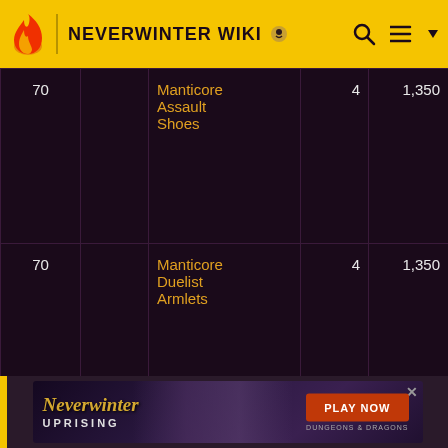[Figure (screenshot): Neverwinter Wiki navigation bar with flame logo, site title, search icon, and menu icon on yellow background]
| Level |  | Item Name | Count | Value |
| --- | --- | --- | --- | --- |
| 70 |  | Manticore Assault Shoes | 4 | 1,350 |
| 70 |  | Manticore Duelist Armlets | 4 | 1,350 |
[Figure (screenshot): Neverwinter Uprising advertisement banner with game logo, fantasy creature imagery, and Play Now button]